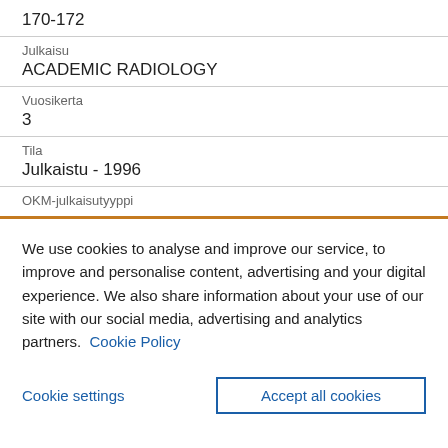170-172
Julkaisu
ACADEMIC RADIOLOGY
Vuosikerta
3
Tila
Julkaistu - 1996
OKM-julkaisutyyppi
We use cookies to analyse and improve our service, to improve and personalise content, advertising and your digital experience. We also share information about your use of our site with our social media, advertising and analytics partners.  Cookie Policy
Cookie settings
Accept all cookies